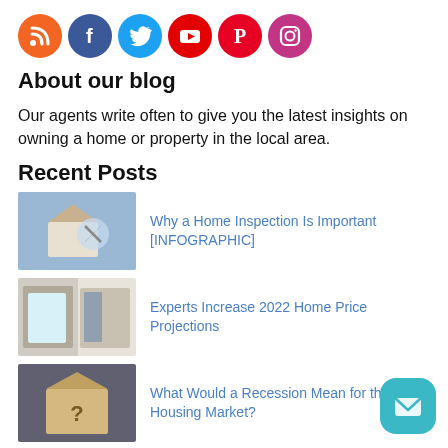[Figure (infographic): Six social media icon circles: RSS (orange), Facebook (dark blue), Twitter (light blue), YouTube (red), Pinterest (red), Instagram (magenta)]
About our blog
Our agents write often to give you the latest insights on owning a home or property in the local area.
Recent Posts
[Figure (photo): Person holding a magnifying glass over a small model house — home inspection concept]
Why a Home Inspection Is Important [INFOGRAPHIC]
[Figure (photo): Exterior of a home with sliding glass door and brick — home price concept]
Experts Increase 2022 Home Price Projections
[Figure (photo): Wooden house model with question mark on dark background — recession concept]
What Would a Recession Mean for the Housing Market?
[Figure (photo): Person looking at paperwork or documents — homeownership rate concept]
The U.S. Homeownership Rate